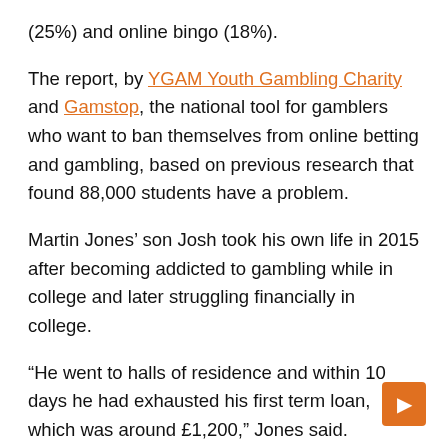(25%) and online bingo (18%).
The report, by YGAM Youth Gambling Charity and Gamstop, the national tool for gamblers who want to ban themselves from online betting and gambling, based on previous research that found 88,000 students have a problem.
Martin Jones’ son Josh took his own life in 2015 after becoming addicted to gambling while in college and later struggling financially in college.
“He went to halls of residence and within 10 days he had exhausted his first term loan, which was around £1,200,” Jones said.
Jones and his wife, Kim, ended up having to